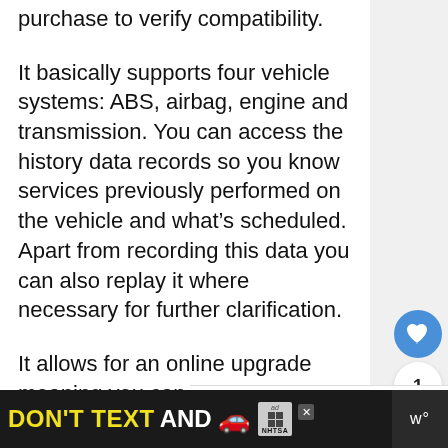purchase to verify compatibility.
It basically supports four vehicle systems: ABS, airbag, engine and transmission. You can access the history data records so you know services previously performed on the vehicle and what's scheduled. Apart from recording this data you can also replay it where necessary for further clarification.
It allows for an online upgrade meaning you can download the latest version at any time and from
[Figure (other): Heart/like button (blue circle with heart icon), count '1', and share button (white circle with share icon) - social UI overlay on right side]
[Figure (other): What's Next panel showing thumbnail and text 'WHAT'S NEXT → iCarsoft i900 Review - For G...']
[Figure (other): Ad banner at bottom: dark background with text DON'T TEXT AND [car emoji] with NHTSA badge and ad indicator]